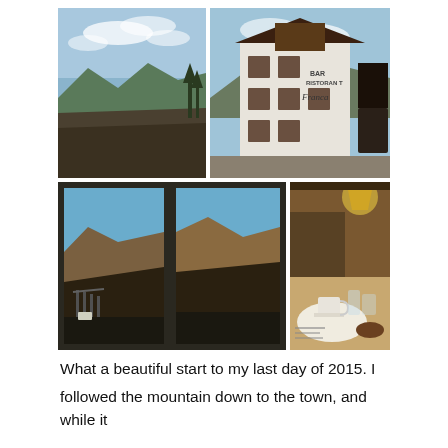[Figure (photo): A collage of four travel photographs: top-left shows an alpine valley landscape with mountains and field under blue sky; top-right shows a white alpine hotel/bar building (Bar Ristorante) with brown wooden balcony; bottom-left shows a window view from inside looking out at mountains and a viaduct; bottom-right shows a dimly lit dinner table setting with coffee cup and glassware.]
What a beautiful start to my last day of 2015.  I followed the mountain down to the town, and while it